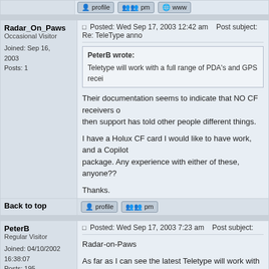Radar_On_Paws
Occasional Visitor
Joined: Sep 16, 2003
Posts: 1
Posted: Wed Sep 17, 2003 12:42 am    Post subject: Re: TeleType anno...
PeterB wrote:
Teletype will work with a full range of PDA's and GPS recei...
Their documentation seems to indicate that NO CF receivers o... then support has told other people different things.

I have a Holux CF card I would like to have work, and a Copilot... package. Any experience with either of these, anyone??

Thanks.
Back to top
PeterB
Regular Visitor
Joined: 04/10/2002 16:38:07
Posts: 195
Posted: Wed Sep 17, 2003 7:23 am    Post subject:
Radar-on-Paws

As far as I can see the latest Teletype will work with any GPS r...
Back to top